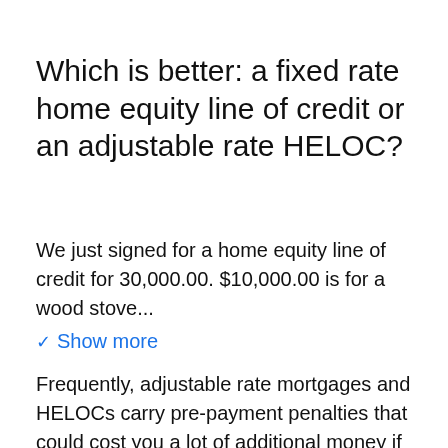Which is better: a fixed rate home equity line of credit or an adjustable rate HELOC?
We just signed for a home equity line of credit for 30,000.00. $10,000.00 is for a wood stove...
✓ Show more
Frequently, adjustable rate mortgages and HELOCs carry pre-payment penalties that could cost you a lot of additional money if and when you want to pay off the loan. While standard